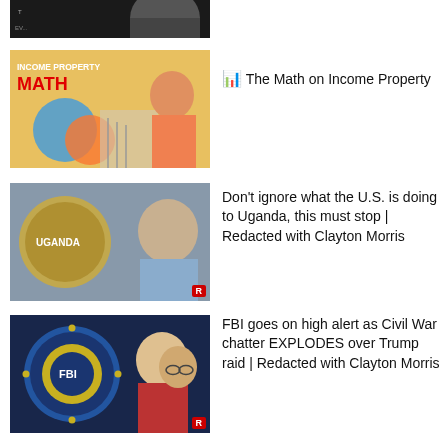[Figure (screenshot): Partial thumbnail of a video at the top, cropped]
[Figure (screenshot): Thumbnail: Income Property Math video with text overlay]
The Math on Income Property
[Figure (screenshot): Thumbnail: Uganda / Biden image with Redacted R badge]
Don’t ignore what the U.S. is doing to Uganda, this must stop | Redacted with Clayton Morris
[Figure (screenshot): Thumbnail: FBI seal and Trump / person with glasses image]
FBI goes on high alert as Civil War chatter EXPLODES over Trump raid | Redacted with Clayton Morris
[Figure (screenshot): Thumbnail: How to Live Off Rental Income with yellow border and sign]
How to Live Off Rental Income
[Figure (screenshot): Thumbnail: Trudeau vaccine mandates image, partially visible]
Trudeau’s vaccine mandates in Canada